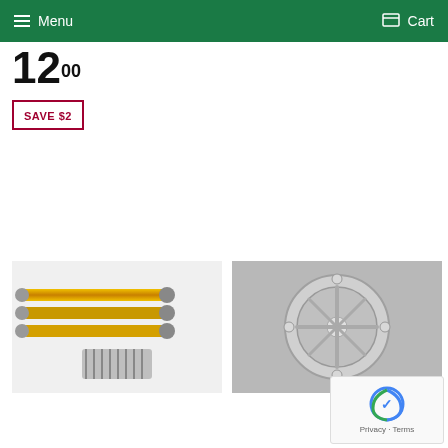Menu   Cart
12 00
SAVE $2
[Figure (photo): Gold/yellow adjustable strut rods with metal hardware and springs on white background]
[Figure (photo): Silver metallic wheel-like decorative piece on grey background]